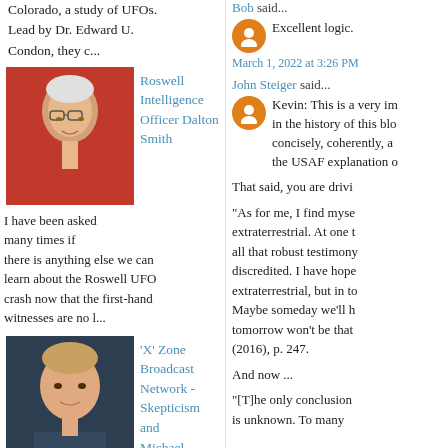Colorado, a study of UFOs. Lead by Dr. Edward U. Condon, they c...
[Figure (photo): Elderly man in red shirt, smiling, glasses]
Roswell Intelligence Officer Dalton Smith
I have been asked many times if there is anything else we can learn about the Roswell UFO crash now that the first-hand witnesses are no l...
[Figure (photo): Middle-aged man with short hair]
'X' Zone Broadcast Network - Skepticism and Michael Shermer
After Dr. Avi Loeb announced that the extraterrestrial object that had passed through the solar system was artificial, I had tried to get
Bob said...
Excellent logic.
March 1, 2022 at 3:26 PM
John Steiger said...
Kevin: This is a very im in the history of this blo concisely, coherently, a the USAF explanation o
That said, you are drivi
"As for me, I find myse extraterrestrial. At one t all that robust testimony discredited. I have hope extraterrestrial, but in to Maybe someday we'll h tomorrow won't be that (2016), p. 247.
And now ...
"[T]he only conclusion is unknown. To many